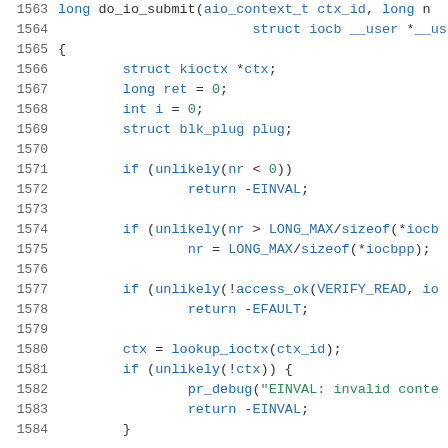[Figure (screenshot): Source code listing in C showing function do_io_submit, with syntax highlighting. Line numbers 1563-1584 are visible. Keywords in blue, strings in green, identifiers in dark blue/teal.]